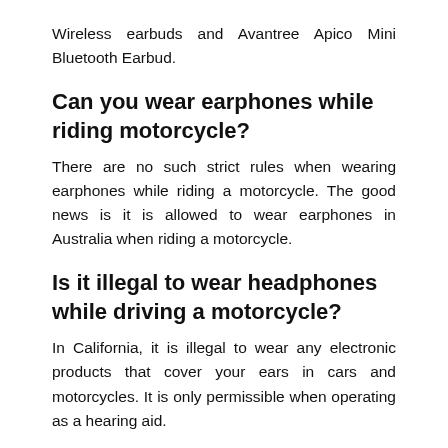Wireless earbuds and Avantree Apico Mini Bluetooth Earbud.
Can you wear earphones while riding motorcycle?
There are no such strict rules when wearing earphones while riding a motorcycle. The good news is it is allowed to wear earphones in Australia when riding a motorcycle.
Is it illegal to wear headphones while driving a motorcycle?
In California, it is illegal to wear any electronic products that cover your ears in cars and motorcycles. It is only permissible when operating as a hearing aid.